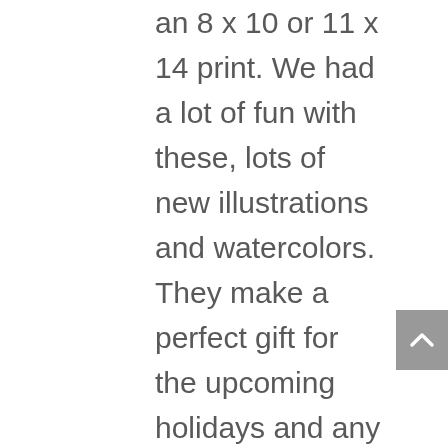an 8 x 10 or 11 x 14 print. We had a lot of fun with these, lots of new illustrations and watercolors. They make a perfect gift for the upcoming holidays and any gifting needs you have coming up. Use code YAY! at checkout to get 35% off art prints. Available in 8 x 10 or 11 x 14, printed on high quality paper, frame not included. We still have our downloadable digital art prints on Etsy. These are not personalized or printed but are great for a last minute gift. Check out our holiday collection perfect for easy, low-cost decorating over the holidays. Check back often as we add more